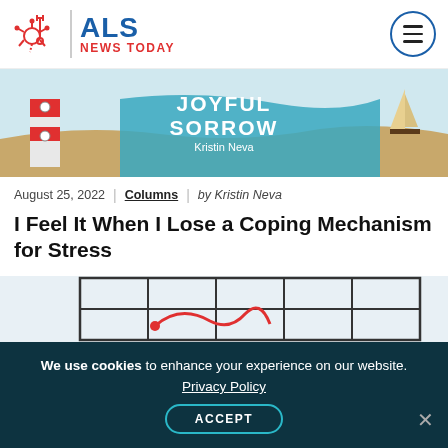[Figure (logo): ALS News Today logo with neuron icon, blue ALS text and red NEWS TODAY text]
[Figure (illustration): Banner illustration for 'Joyful Sorrow' column by Kristin Neva showing lighthouse, water, sand and sailboat]
August 25, 2022 | Columns | by Kristin Neva
I Feel It When I Lose a Coping Mechanism for Stress
[Figure (illustration): Partial illustration showing a grid/net pattern with what appears to be a red fish or dragon shape]
We use cookies to enhance your experience on our website. Privacy Policy ACCEPT